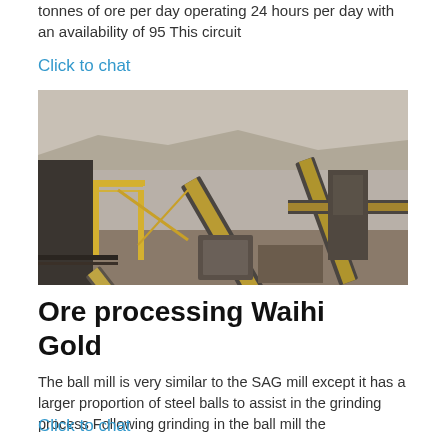tonnes of ore per day operating 24 hours per day with an availability of 95 This circuit
Click to chat
[Figure (photo): Aerial view of an open-pit mining ore processing facility showing conveyor belts, crushing equipment, and machinery at a mine site. Yellow structural frames and belt conveyors are visible against a dry rocky landscape.]
Ore processing Waihi Gold
The ball mill is very similar to the SAG mill except it has a larger proportion of steel balls to assist in the grinding process Following grinding in the ball mill the
Click to chat